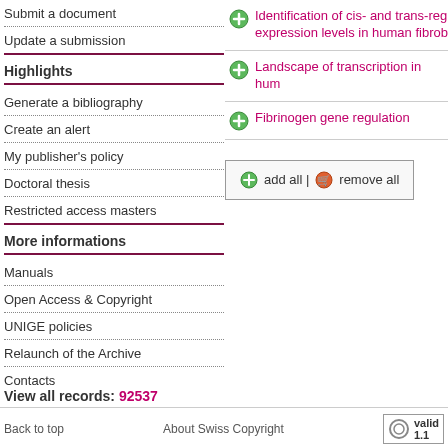Submit a document
Update a submission
Highlights
Generate a bibliography
Create an alert
My publisher's policy
Doctoral thesis
Restricted access masters
More informations
Manuals
Open Access & Copyright
UNIGE policies
Relaunch of the Archive
Contacts
Identification of cis- and trans-re... expression levels in human fibrob...
Landscape of transcription in hum...
Fibrinogen gene regulation
add all | remove all
View all records: 92537
Back to top    About Swiss Copyright    valid 1.1